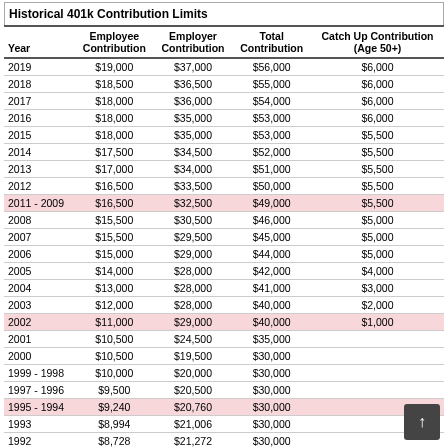| Year | Employee Contribution | Employer Contribution | Total Contribution | Catch Up Contribution (Age 50+) |
| --- | --- | --- | --- | --- |
| 2019 | $19,000 | $37,000 | $56,000 | $6,000 |
| 2018 | $18,500 | $36,500 | $55,000 | $6,000 |
| 2017 | $18,000 | $36,000 | $54,000 | $6,000 |
| 2016 | $18,000 | $35,000 | $53,000 | $6,000 |
| 2015 | $18,000 | $35,000 | $53,000 | $5,500 |
| 2014 | $17,500 | $34,500 | $52,000 | $5,500 |
| 2013 | $17,000 | $34,000 | $51,000 | $5,500 |
| 2012 | $16,500 | $33,500 | $50,000 | $5,500 |
| 2011 - 2009 | $16,500 | $32,500 | $49,000 | $5,500 |
| 2008 | $15,500 | $30,500 | $46,000 | $5,000 |
| 2007 | $15,500 | $29,500 | $45,000 | $5,000 |
| 2006 | $15,000 | $29,000 | $44,000 | $5,000 |
| 2005 | $14,000 | $28,000 | $42,000 | $4,000 |
| 2004 | $13,000 | $28,000 | $41,000 | $3,000 |
| 2003 | $12,000 | $28,000 | $40,000 | $2,000 |
| 2002 | $11,000 | $29,000 | $40,000 | $1,000 |
| 2001 | $10,500 | $24,500 | $35,000 |  |
| 2000 | $10,500 | $19,500 | $30,000 |  |
| 1999 - 1998 | $10,000 | $20,000 | $30,000 |  |
| 1997 - 1996 | $9,500 | $20,500 | $30,000 |  |
| 1995 - 1994 | $9,240 | $20,760 | $30,000 |  |
| 1993 | $8,994 | $21,006 | $30,000 |  |
| 1992 | $8,728 | $21,272 | $30,000 |  |
| 1991 | $8,475 | $21,525 | $30,000 |  |
| 1990 | $7,979 | $22,021 | $30,000 |  |
| 1989 | $7,627 | $22,373 | $30,000 |  |
| 1988 | $7,313 | $22,687 | $30,000 |  |